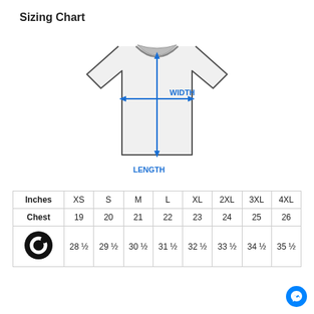Sizing Chart
[Figure (illustration): T-shirt sizing diagram showing a white t-shirt with blue measurement arrows. A vertical arrow runs from the collar to the hem labeled LENGTH, and a horizontal arrow runs across the chest labeled WIDTH.]
| Inches | XS | S | M | L | XL | 2XL | 3XL | 4XL |
| --- | --- | --- | --- | --- | --- | --- | --- | --- |
| Chest | 19 | 20 | 21 | 22 | 23 | 24 | 25 | 26 |
| [circle icon] | 28 ½ | 29 ½ | 30 ½ | 31 ½ | 32 ½ | 33 ½ | 34 ½ | 35 ½ |